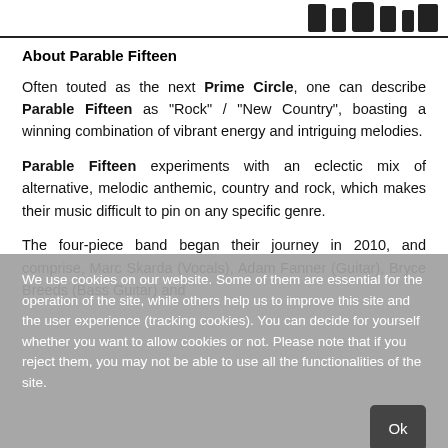[Figure (photo): Top strip showing a partial image of a band or logo, cropped, dark silhouettes on white background with a dark horizontal rule below.]
About Parable Fifteen
Often touted as the next Prime Circle, one can describe Parable Fifteen as "Rock" / "New Country", boasting a winning combination of vibrant energy and intriguing melodies.
Parable Fifteen experiments with an eclectic mix of alternative, melodic anthemic, country and rock, which makes their music difficult to pin on any specific genre.
The four-piece band began their journey in 2010, and comprise, Marc Skarda (Vocals), Adam Fanner (Guitar), Bryce Breeds (Bass Guitar) and
We use cookies on our website. Some of them are essential for the operation of the site, while others help us to improve this site and the user experience (tracking cookies). You can decide for yourself whether you want to allow cookies or not. Please note that if you reject them, you may not be able to use all the functionalities of the site.